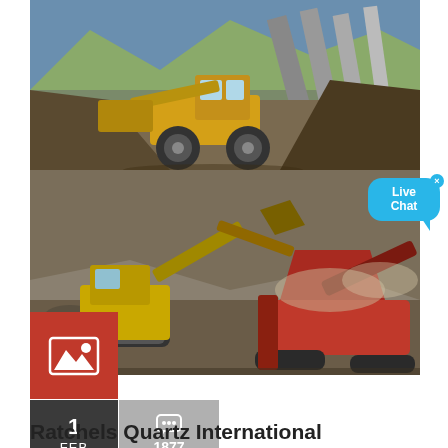[Figure (photo): Photograph of a yellow wheel loader (front-end loader) operating at a quarry or aggregate facility, with conveyor belts and stockpiles in the background under a blue sky.]
[Figure (photo): Photograph of a yellow excavator and a red tracked mobile crusher/screener operating at a quarry site with rocky terrain.]
[Figure (infographic): Red square box with a white image/photo icon (mountain and sun symbol) indicating a photo gallery.]
1
FEB
1877
Ratchels Quartz International